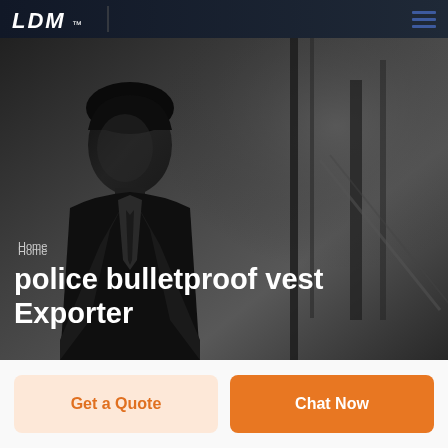LDM
Home
police bulletproof vest Exporter
[Figure (photo): Grayscale hero banner image showing a man in a dark suit, with blurred urban background. Text overlay reads 'Home' (breadcrumb) and 'police bulletproof vest Exporter' (page title).]
Get a Quote
Chat Now